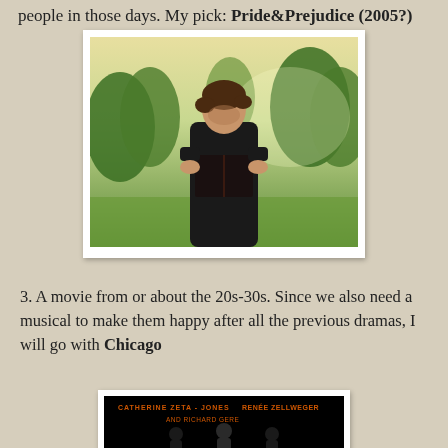people in those days. My pick: Pride&Prejudice (2005?)
[Figure (photo): A woman reading a book outdoors in a green field, from the movie Pride & Prejudice (2005)]
3. A movie from or about the 20s-30s. Since we also need a musical to make them happy after all the previous dramas, I will go with Chicago
[Figure (photo): Movie poster for Chicago featuring Catherine Zeta-Jones, Renée Zellweger, and Richard Gere]